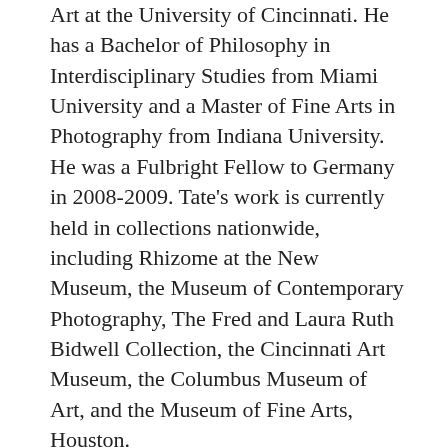Art at the University of Cincinnati. He has a Bachelor of Philosophy in Interdisciplinary Studies from Miami University and a Master of Fine Arts in Photography from Indiana University. He was a Fulbright Fellow to Germany in 2008-2009. Tate's work is currently held in collections nationwide, including Rhizome at the New Museum, the Museum of Contemporary Photography, The Fred and Laura Ruth Bidwell Collection, the Cincinnati Art Museum, the Columbus Museum of Art, and the Museum of Fine Arts, Houston.
Recent exhibitions of his works include: The Transformer Station Art Museum (Cleveland, OH), Denny Gallery (NYC), Peninsula Art Space (Brooklyn, NY), Nextart Gallery (Gothenburg, SE), Galerie Steinsland Berliner (Stockholm, SE), Stadium Gallery (NYC), Signal Gallery (NYC), Herron School of Art (Indianapolis, IN), PH Gallery (Newcastle upon Tyne, UK),